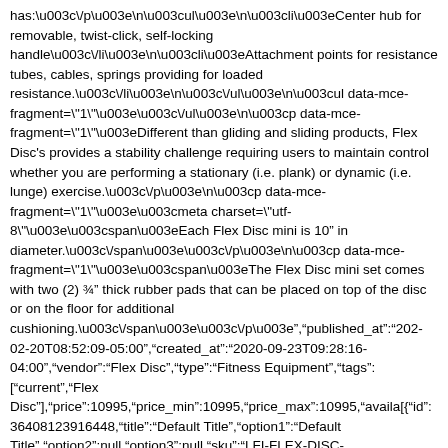has:\u003c\/p\u003e\n\u003cul\u003e\n\u003cli\u003eCenter hub for removable, twist-click, self-locking handle\u003c\/li\u003e\n\u003cli\u003eAttachment points for resistance tubes, cables, springs providing for loaded resistance.\u003c\/li\u003e\n\u003c\/ul\u003e\n\u003cul data-mce-fragment=\"1\"\u003e\u003c\/ul\u003e\n\u003cp data-mce-fragment=\"1\"\u003eDifferent than gliding and sliding products, Flex Disc's provides a stability challenge requiring users to maintain control whether you are performing a stationary (i.e. plank) or dynamic (i.e. lunge) exercise.\u003c\/p\u003e\n\u003cp data-mce-fragment=\"1\"\u003e\u003cmeta charset=\"utf-8\"\u003e\u003cspan\u003eEach Flex Disc mini is 10" in diameter.\u003c\/span\u003e\u003c\/p\u003e\n\u003cp data-mce-fragment=\"1\"\u003e\u003cspan\u003eThe Flex Disc mini set comes with two (2) ¾" thick rubber pads that can be placed on top of the disc or on the floor for additional cushioning.\u003c\/span\u003e\u003c\/p\u003e","published_at":"202-02-20T08:52:09-05:00","created_at":"2020-09-23T09:28:16-04:00","vendor":"Flex Disc","type":"Fitness Equipment","tags":["current","Flex Disc"],"price":10995,"price_min":10995,"price_max":10995,"availa[{"id":36408123916448,"title":"Default Title","option1":"Default Title","option2":null,"option3":null,"sku":"LFI-FLEX-DISC-MINI","requires_shipping":true,"taxable":true,"featured_image":null Disc Mini","public_title":null,"options":["Default Title"]},"price":10995,"weight":3175,"compare_at_price":null,"...